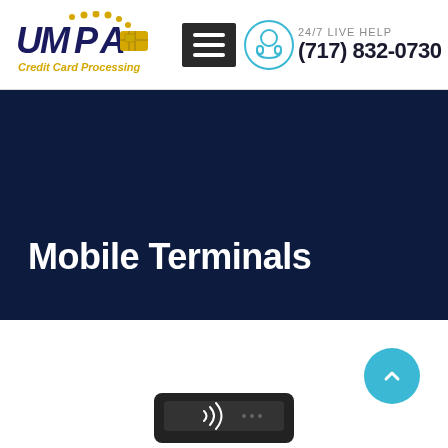[Figure (logo): UMPA Credit Card Processing logo with gold coins/chip design]
[Figure (infographic): Hamburger menu icon and headset support icon]
24/7 LIVE HELP
(717) 832-0730
Mobile Terminals
[Figure (other): Scroll-to-top button (cyan circle with up arrow)]
[Figure (other): Mobile card reader terminal device at the bottom of the page]